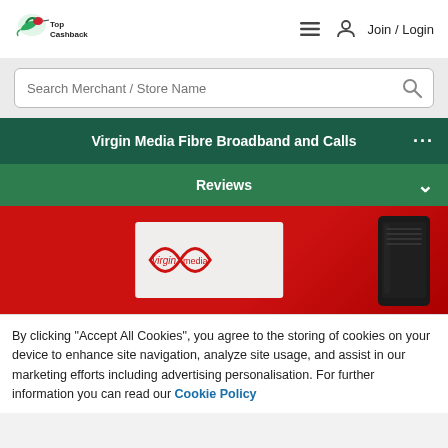TopCashback — Join / Login
Search Merchant / Store Name
Virgin Media Fibre Broadband and Calls
Reviews
[Figure (logo): Virgin Media logo on light background with router silhouette on red background]
By clicking "Accept All Cookies", you agree to the storing of cookies on your device to enhance site navigation, analyze site usage, and assist in our marketing efforts including advertising personalisation. For further information you can read our Cookie Policy